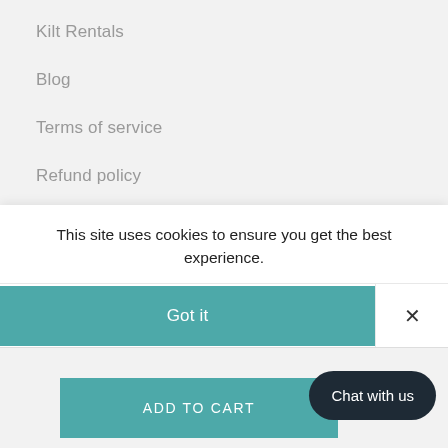Kilt Rentals
Blog
Terms of service
Refund policy
FOLLOW US ON
This site uses cookies to ensure you get the best experience.
Got it
×
Chat with us
ADD TO CART